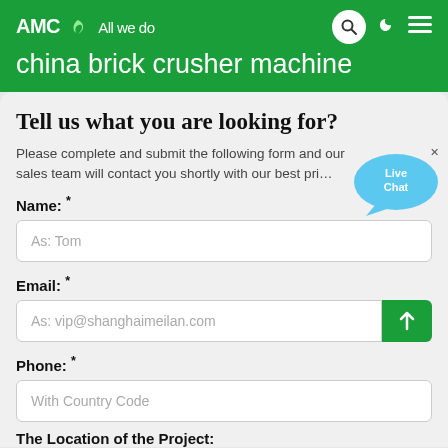AMC - All we do | china brick crusher machine
Tell us what you are looking for?
Please complete and submit the following form and our sales team will contact you shortly with our best price.
Name: *
As: Tom
Email: *
As: vip@shanghaimeilan.com
Phone: *
With Country Code
The Location of the Project: